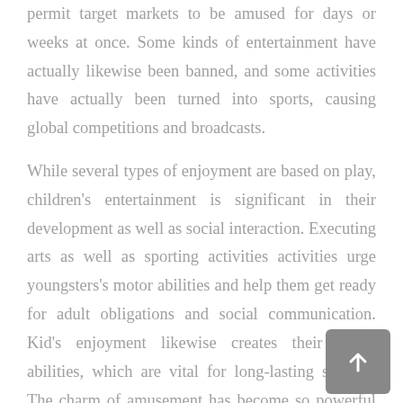permit target markets to be amused for days or weeks at once. Some kinds of entertainment have actually likewise been banned, and some activities have actually been turned into sports, causing global competitions and broadcasts.
While several types of enjoyment are based on play, children's entertainment is significant in their development as well as social interaction. Executing arts as well as sporting activities activities urge youngsters's motor abilities and help them get ready for adult obligations and social communication. Kid's enjoyment likewise creates their social abilities, which are vital for long-lasting success. The charm of amusement has become so powerful that it has become a